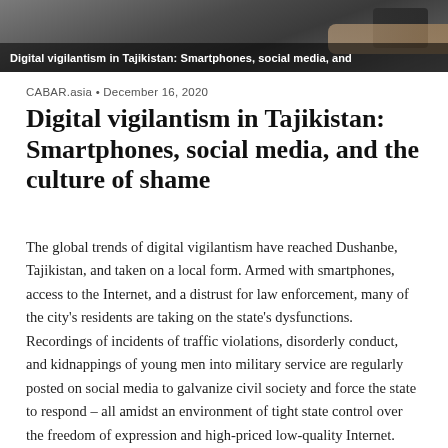[Figure (photo): Photo banner showing a smartphone being held, with a dark overlay caption at the bottom reading 'Digital vigilantism in Tajikistan: Smartphones, social media, and']
CABAR.asia • December 16, 2020
Digital vigilantism in Tajikistan: Smartphones, social media, and the culture of shame
The global trends of digital vigilantism have reached Dushanbe, Tajikistan, and taken on a local form. Armed with smartphones, access to the Internet, and a distrust for law enforcement, many of the city's residents are taking on the state's dysfunctions. Recordings of incidents of traffic violations, disorderly conduct, and kidnappings of young men into military service are regularly posted on social media to galvanize civil society and force the state to respond – all amidst an environment of tight state control over the freedom of expression and high-priced low-quality Internet.